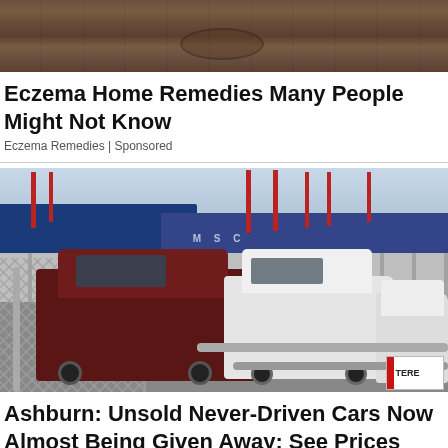[Figure (photo): Wood texture background image at top of page]
Eczema Home Remedies Many People Might Not Know
Eczema Remedies | Sponsored
[Figure (photo): Photo of a large car lot at a port with many Toyota FJ Cruisers parked, a chain-link fence in foreground, cargo ships and cranes visible in background. One dark red/maroon FJ Cruiser prominent in center-left.]
Ashburn: Unsold Never-Driven Cars Now Almost Being Given Away: See Prices